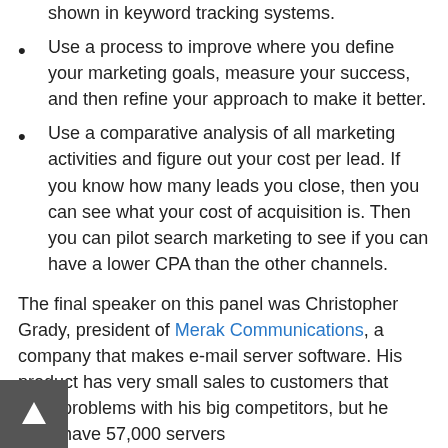shown in keyword tracking systems.
Use a process to improve where you define your marketing goals, measure your success, and then refine your approach to make it better.
Use a comparative analysis of all marketing activities and figure out your cost per lead. If you know how many leads you close, then you can see what your cost of acquisition is. Then you can pilot search marketing to see if you can have a lower CPA than the other channels.
The final speaker on this panel was Christopher Grady, president of Merak Communications, a company that makes e-mail server software. His product has very small sales to customers that have problems with his big competitors, but he does have 57,000 servers